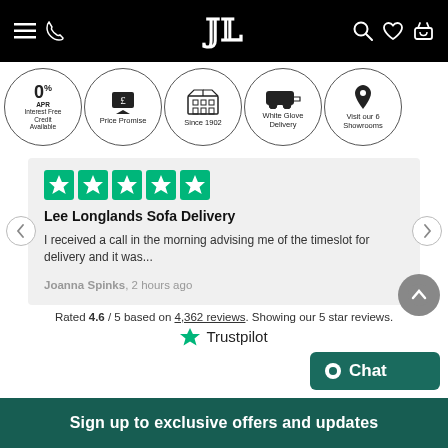[Figure (screenshot): Website navigation bar with logo JL, hamburger menu, phone icon, search, wishlist, and cart icons on black background]
[Figure (infographic): Row of circular badges: 0% APR Interest Free Credit Available, Price Promise, Since 1902, White Glove Delivery, Visit our 6 Showrooms]
Lee Longlands Sofa Delivery
I received a call in the morning advising me of the timeslot for delivery and it was...
Joanna Spinks, 2 hours ago
Rated 4.6 / 5 based on 4,362 reviews. Showing our 5 star reviews.
Trustpilot
Chat
Sign up to exclusive offers and updates